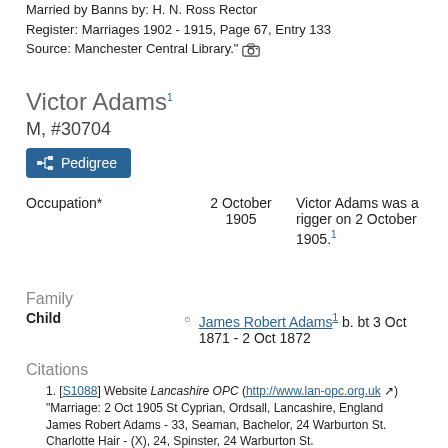Married by Banns by: H. N. Ross Rector
Register: Marriages 1902 - 1915, Page 67, Entry 133
Source: Manchester Central Library."
Victor Adams
M, #30704
Pedigree
Occupation*   2 October 1905   Victor Adams was a rigger on 2 October 1905.
Family
Child   James Robert Adams b. bt 3 Oct 1871 - 2 Oct 1872
Citations
[S1088] Website Lancashire OPC (http://www.lan-opc.org.uk) "Marriage: 2 Oct 1905 St Cyprian, Ordsall, Lancashire, England James Robert Adams - 33, Seaman, Bachelor, 24 Warburton St. Charlotte Hair - (X), 24, Spinster, 24 Warburton St. Groom's Father: Victor Adams, Rigger Bride's Father: Robert Hair, Seaman Witness: Robert Ayre or Hair; Harriet Walsh, (X)